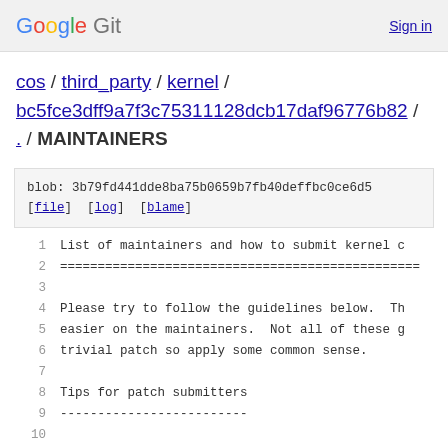Google Git  Sign in
cos / third_party / kernel / bc5fce3dff9a7f3c75311128dcb17daf96776b82 / . / MAINTAINERS
blob: 3b79fd441dde8ba75b0659b7fb40deffbc0ce6d5
[file] [log] [blame]
1  List of maintainers and how to submit kernel c
2  ================================================
3
4  Please try to follow the guidelines below.  Th
5  easier on the maintainers.  Not all of these g
6  trivial patch so apply some common sense.
7
8  Tips for patch submitters
9  -------------------------
10